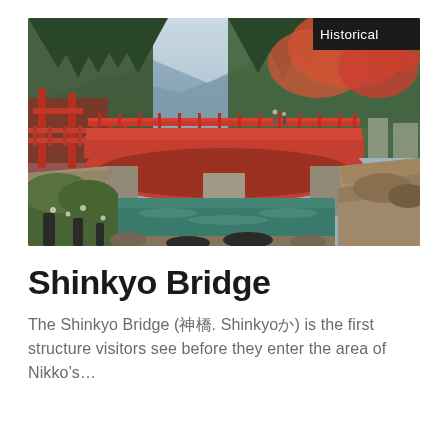[Figure (photo): Photograph of Shinkyo Bridge in Nikko, Japan. A traditional red arched bridge spans a rocky gorge with a green-blue stream below. Dense autumn foliage with green pines and orange-red maples fills the background. Mountains visible in the distance. A 'Historical' badge appears in the top-right corner of the image.]
Shinkyo Bridge
The Shinkyo Bridge (神橋. Shinkyō) is the first structure visitors see before they enter the area of Nikko's…